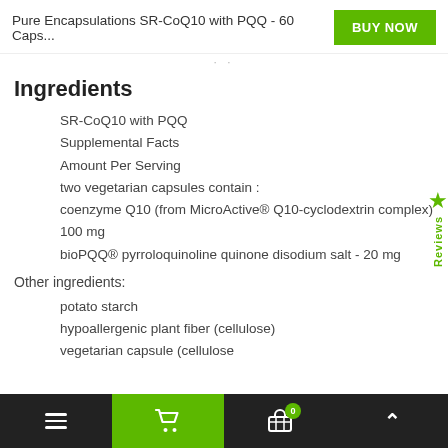Pure Encapsulations SR-CoQ10 with PQQ - 60 Caps...
Ingredients
SR-CoQ10 with PQQ
Supplemental Facts
Amount Per Serving
two vegetarian capsules contain :
coenzyme Q10 (from MicroActive® Q10-cyclodextrin complex)
100 mg
bioPQQ® pyrroloquinoline quinone disodium salt - 20 mg
Other ingredients:
potato starch
hypoallergenic plant fiber (cellulose)
vegetarian capsule (cellulose
Navigation bar with menu, cart, basket (0), and up arrow